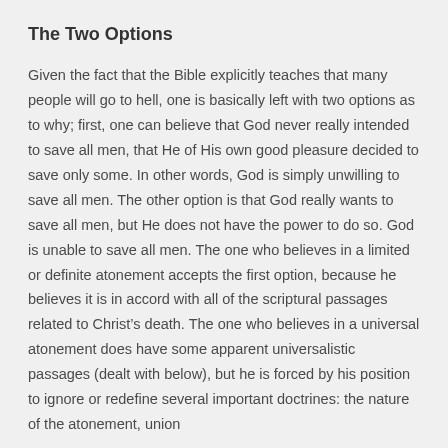The Two Options
Given the fact that the Bible explicitly teaches that many people will go to hell, one is basically left with two options as to why; first, one can believe that God never really intended to save all men, that He of His own good pleasure decided to save only some. In other words, God is simply unwilling to save all men. The other option is that God really wants to save all men, but He does not have the power to do so. God is unable to save all men. The one who believes in a limited or definite atonement accepts the first option, because he believes it is in accord with all of the scriptural passages related to Christ’s death. The one who believes in a universal atonement does have some apparent universalistic passages (dealt with below), but he is forced by his position to ignore or redefine several important doctrines: the nature of the atonement, union